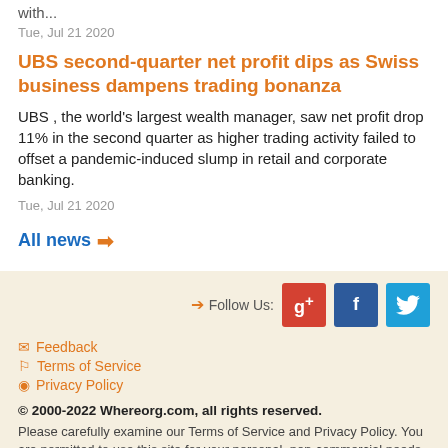with...
Tue, Jul 21 2020
UBS second-quarter net profit dips as Swiss business dampens trading bonanza
UBS , the world's largest wealth manager, saw net profit drop 11% in the second quarter as higher trading activity failed to offset a pandemic-induced slump in retail and corporate banking.
Tue, Jul 21 2020
All news →
Follow Us: [Google+] [Facebook] [Twitter] | Feedback | Terms of Service | Privacy Policy | © 2000-2022 Whereorg.com, all rights reserved. | Please carefully examine our Terms of Service and Privacy Policy. You are permitted to use this site for your personal, non-commercial needs only.